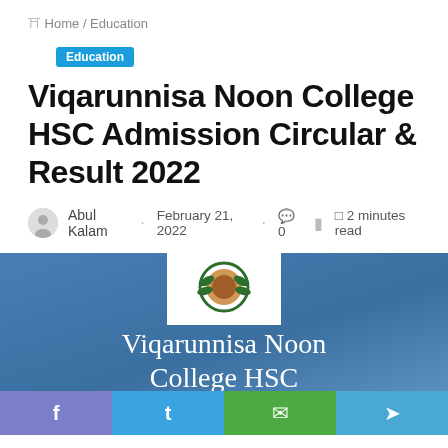Home / Education
Education
Viqarunnisa Noon College HSC Admission Circular & Result 2022
Abul Kalam · February 21, 2022 · 0 · 2 minutes read
[Figure (photo): Banner image showing Viqarunnisa Noon College HSC with college crest/logo on blue gradient background, with social share bar at bottom (Facebook, Twitter, WhatsApp, Telegram)]